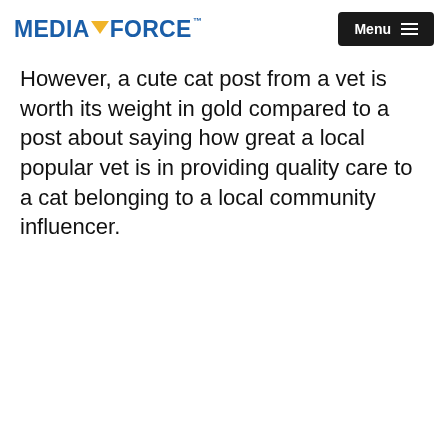MEDIAFORCE Menu
However, a cute cat post from a vet is worth its weight in gold compared to a post about saying how great a local popular vet is in providing quality care to a cat belonging to a local community influencer.